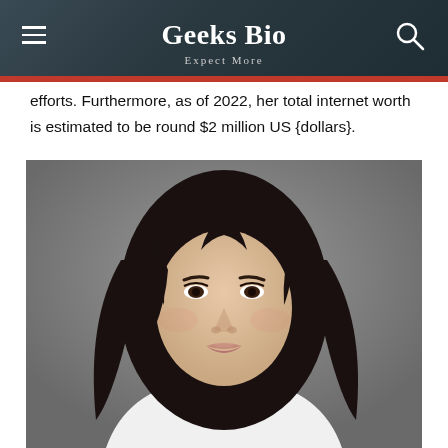Geeks Bio — Expect More
efforts. Furthermore, as of 2022, her total internet worth is estimated to be round $2 million US {dollars}.
[Figure (photo): Portrait photo of a young woman with long dark wavy hair, wearing a white t-shirt, against a grey background.]